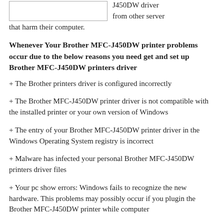[Figure (other): Image placeholder box (white rectangle with border)]
J450DW driver from other server that harm their computer.
Whenever Your Brother MFC-J450DW printer problems occur due to the below reasons you need get and set up Brother MFC-J450DW printers driver
+ The Brother printers driver is configured incorrectly
+ The Brother MFC-J450DW printer driver is not compatible with the installed printer or your own version of Windows
+ The entry of your Brother MFC-J450DW printer driver in the Windows Operating System registry is incorrect
+ Malware has infected your personal Brother MFC-J450DW printers driver files
+ Your pc show errors: Windows fails to recognize the new hardware. This problems may possibly occur if you plugin the Brother MFC-J450DW printer while computer...